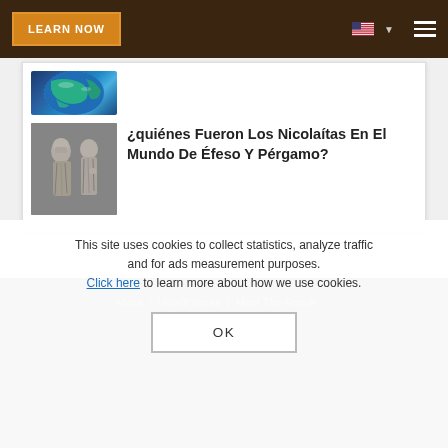LEARN NOW
[Figure (screenshot): Partial globe image (earth from space, blue tones) cropped at top]
¿quiénes Fueron Los Nicolaítas En El Mundo De Éfeso Y Pérgamo?
[Figure (photo): Black and white photo of classical stone statues or sculptures]
This site uses cookies to collect statistics, analyze traffic and for ads measurement purposes. Click here to learn more about how we use cookies.
About | How it works | Meet The Result | Contact Us | Certific...